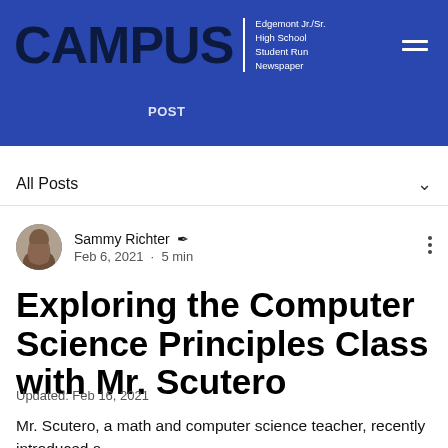CAMPUS | Edgemont Jr./Sr. High School Student Run Newspaper
POST
All Posts
Sammy Richter  Feb 6, 2021 · 5 min
Exploring the Computer Science Principles Class with Mr. Scutero
Updated: Feb 16, 2021
Mr. Scutero, a math and computer science teacher, recently introduced a